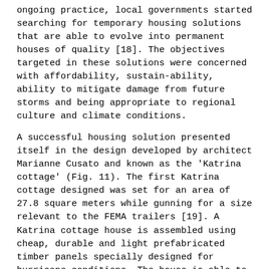ongoing practice, local governments started searching for temporary housing solutions that are able to evolve into permanent houses of quality [18]. The objectives targeted in these solutions were concerned with affordability, sustain-ability, ability to mitigate damage from future storms and being appropriate to regional culture and climate conditions.
A successful housing solution presented itself in the design developed by architect Marianne Cusato and known as the 'Katrina cottage' (Fig. 11). The first Katrina cottage designed was set for an area of 27.8 square meters while gunning for a size relevant to the FEMA trailers [19]. A Katrina cottage house is assembled using cheap, durable and light prefabricated timber panels specially designed for hurricane conditions. The house is able to withstand high wind-loads and excessive moisture without incurring damage or destruction. The roof is covered in tin sheets to protect against rain. Being made from relatively cheap (yet durable) materials, the cost of the 'Katrina Cottage' in 2008 was less than 42,000 US$ including bathroom, kitchen and a front porch.